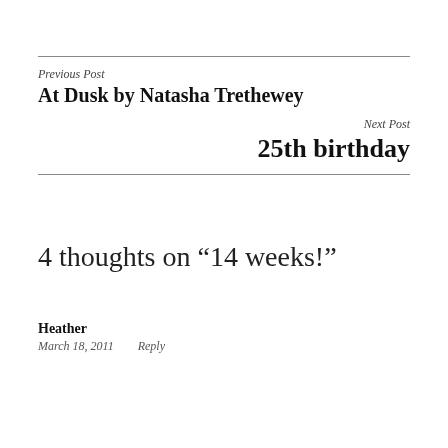Previous Post
At Dusk by Natasha Trethewey
Next Post
25th birthday
4 thoughts on “14 weeks!”
Heather
March 18, 2011   Reply